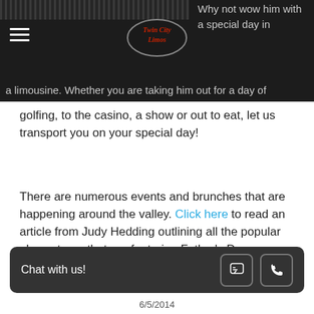[Figure (screenshot): Website header bar with dark background, hamburger menu icon on left, Twin City Limos oval logo in center, and partial text 'Why not wow him with a special day in a limousine. Whether you are taking him out for a day of' on right and bottom]
golfing, to the casino, a show or out to eat, let us transport you on your special day!
There are numerous events and brunches that are happening around the valley. Click here to read an article from Judy Hedding outlining all the popular places to go that are featuring Father's Day specials!
[Figure (screenshot): Facebook Like button showing count of 1, and Twitter Tweet button]
0 Comments
[Figure (screenshot): Dark chat bar at bottom with 'Chat with us!' text and two icon buttons for chat and phone]
6/5/2014